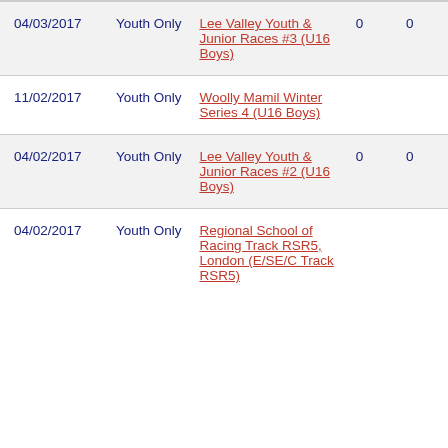| Date | Category | Event | Col1 | Col2 |
| --- | --- | --- | --- | --- |
| 04/03/2017 | Youth Only | Lee Valley Youth & Junior Races #3 (U16 Boys) | 0 | 0 |
| 11/02/2017 | Youth Only | Woolly Mamil Winter Series 4 (U16 Boys) |  |  |
| 04/02/2017 | Youth Only | Lee Valley Youth & Junior Races #2 (U16 Boys) | 0 | 0 |
| 04/02/2017 | Youth Only | Regional School of Racing Track RSR5, London (E/SE/C Track RSR5) |  |  |